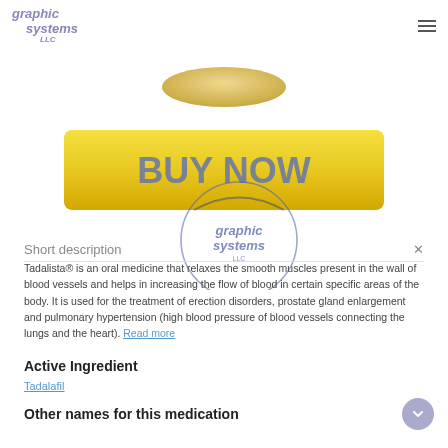graphic systems LLC
[Figure (photo): Partial view of a small oval/lentil-shaped yellow-cream pill at the top of the page]
[Figure (illustration): Yellow gradient 'BUY NOW' button with circular 'graphic systems LLC' watermark overlay]
Short description
Tadalista® is an oral medicine that relaxes the smooth muscles present in the wall of blood vessels and helps in increasing the flow of blood in certain specific areas of the body. It is used for the treatment of erection disorders, prostate gland enlargement and pulmonary hypertension (high blood pressure of blood vessels connecting the lungs and the heart). Read more
Active Ingredient
Tadalafil
Other names for this medication